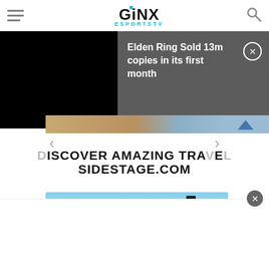GINX ESPORTS TV
Elden Ring Sold 13m copies in its first month
[Figure (screenshot): Advertisement carousel showing travel image with navigation arrows and text: DISCOVER AMAZING TRAVEL SIDESTAGE.COM]
DISCOVER AMAZING TRAVEL SIDESTAGE.COM
[Figure (photo): Japan travel advertisement banner with italic blue 'Japan' text on light blue sky background and zipper element on right side]